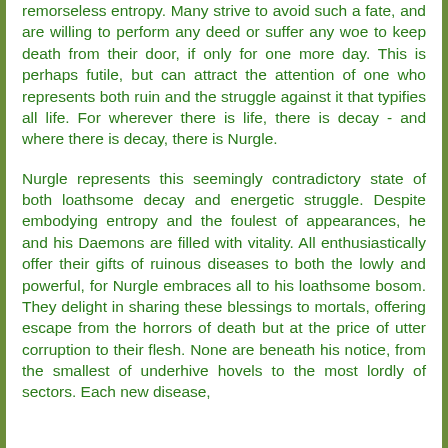remorseless entropy. Many strive to avoid such a fate, and are willing to perform any deed or suffer any woe to keep death from their door, if only for one more day. This is perhaps futile, but can attract the attention of one who represents both ruin and the struggle against it that typifies all life. For wherever there is life, there is decay - and where there is decay, there is Nurgle.
Nurgle represents this seemingly contradictory state of both loathsome decay and energetic struggle. Despite embodying entropy and the foulest of appearances, he and his Daemons are filled with vitality. All enthusiastically offer their gifts of ruinous diseases to both the lowly and powerful, for Nurgle embraces all to his loathsome bosom. They delight in sharing these blessings to mortals, offering escape from the horrors of death but at the price of utter corruption to their flesh. None are beneath his notice, from the smallest of underhive hovels to the most lordly of sectors. Each new disease,